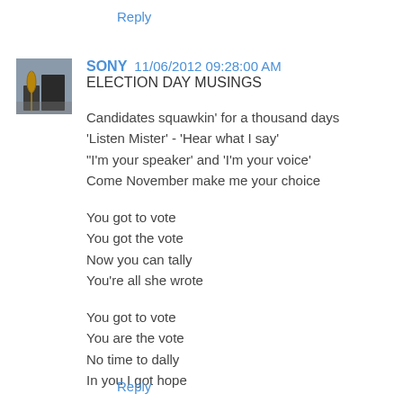Reply
SONY  11/06/2012 09:28:00 AM
ELECTION DAY MUSINGS
Candidates squawkin' for a thousand days
'Listen Mister' - 'Hear what I say'
"I'm your speaker' and 'I'm your voice'
Come November make me your choice

You got to vote
You got the vote
Now you can tally
You're all she wrote

You got to vote
You are the vote
No time to dally
In you I got hope
Reply